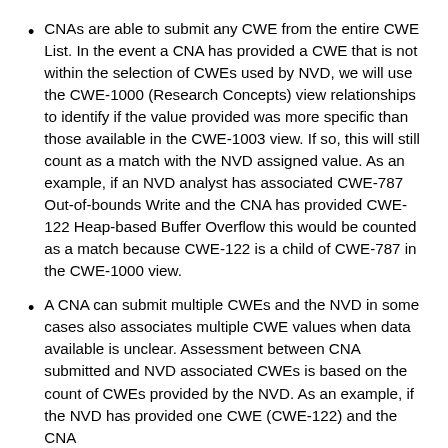CNAs are able to submit any CWE from the entire CWE List. In the event a CNA has provided a CWE that is not within the selection of CWEs used by NVD, we will use the CWE-1000 (Research Concepts) view relationships to identify if the value provided was more specific than those available in the CWE-1003 view. If so, this will still count as a match with the NVD assigned value. As an example, if an NVD analyst has associated CWE-787 Out-of-bounds Write and the CNA has provided CWE-122 Heap-based Buffer Overflow this would be counted as a match because CWE-122 is a child of CWE-787 in the CWE-1000 view.
A CNA can submit multiple CWEs and the NVD in some cases also associates multiple CWE values when data available is unclear. Assessment between CNA submitted and NVD associated CWEs is based on the count of CWEs provided by the NVD. As an example, if the NVD has provided one CWE (CWE-122) and the CNA